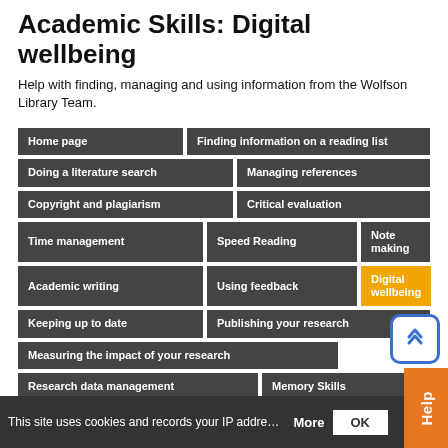Academic Skills: Digital wellbeing
Help with finding, managing and using information from the Wolfson Library Team.
[Figure (screenshot): Navigation menu grid with dark grey buttons for various academic skills topics, with 'Digital wellbeing' highlighted in orange/gold. Topics include: Home page, Finding information on a reading list, Doing a literature search, Managing references, Copyright and plagiarism, Critical evaluation, Time management, Speed Reading, Note making, Academic writing, Using feedback, Digital wellbeing (active), Keeping up to date, Publishing your research, Measuring the impact of your research, Research data management, Memory Skills, Working Remotely and Online, Digital Footprint, Finishing a long document in Word, Reflective Practice.]
This site uses cookies and records your IP address for usage statistics.
More
OK